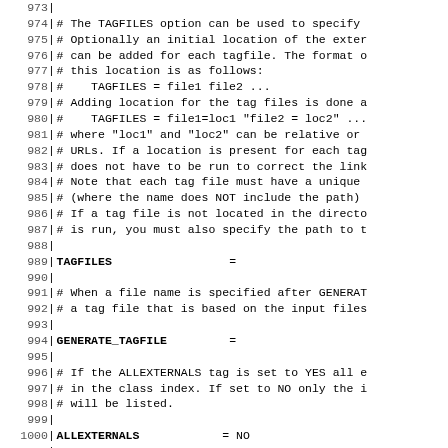Code listing lines 973-1002: Doxygen configuration file comments and settings for TAGFILES, GENERATE_TAGFILE, ALLEXTERNALS, and EXTERNAL_GROUPS options.